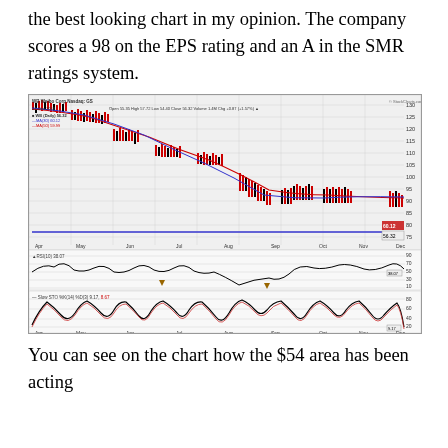the best looking chart in my opinion. The company scores a 98 on the EPS rating and an A in the SMR ratings system.
[Figure (continuous-plot): Stock chart for WB (Weibo Corp, Nasdaq) showing daily price action from April to December 2018 with 30-day and 50-day moving averages, RSI(10) indicator at 38.07, and Slow STO %K(14) %D(3) at 9.17, 8.67. Price declined from ~130 to ~56 range. Chart from StockCharts.com dated 24-Dec-2018. Open 55.35, High 57.72, Low 54.40, Close 56.32, Volume 1.4M, Chg +0.87 (+1.57%).]
You can see on the chart how the $54 area has been acting